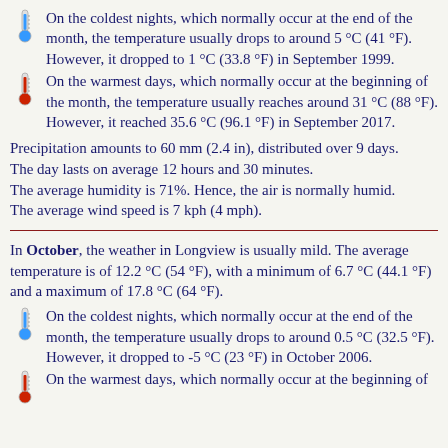On the coldest nights, which normally occur at the end of the month, the temperature usually drops to around 5 °C (41 °F). However, it dropped to 1 °C (33.8 °F) in September 1999.
On the warmest days, which normally occur at the beginning of the month, the temperature usually reaches around 31 °C (88 °F). However, it reached 35.6 °C (96.1 °F) in September 2017.
Precipitation amounts to 60 mm (2.4 in), distributed over 9 days.
The day lasts on average 12 hours and 30 minutes.
The average humidity is 71%. Hence, the air is normally humid.
The average wind speed is 7 kph (4 mph).
In October, the weather in Longview is usually mild. The average temperature is of 12.2 °C (54 °F), with a minimum of 6.7 °C (44.1 °F) and a maximum of 17.8 °C (64 °F).
On the coldest nights, which normally occur at the end of the month, the temperature usually drops to around 0.5 °C (32.5 °F). However, it dropped to -5 °C (23 °F) in October 2006.
On the warmest days, which normally occur at the beginning of